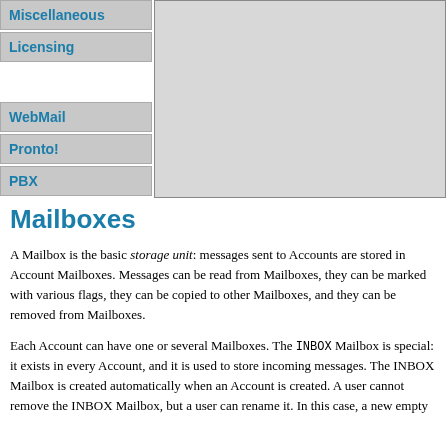Miscellaneous
Licensing
WebMail
Pronto!
PBX
[Figure (screenshot): Gray content pane area on the right side of the navigation sidebar]
Mailboxes
A Mailbox is the basic storage unit: messages sent to Accounts are stored in Account Mailboxes. Messages can be read from Mailboxes, they can be marked with various flags, they can be copied to other Mailboxes, and they can be removed from Mailboxes.
Each Account can have one or several Mailboxes. The INBOX Mailbox is special: it exists in every Account, and it is used to store incoming messages. The INBOX Mailbox is created automatically when an Account is created. A user cannot remove the INBOX Mailbox, but a user can rename it. In this case, a new empty